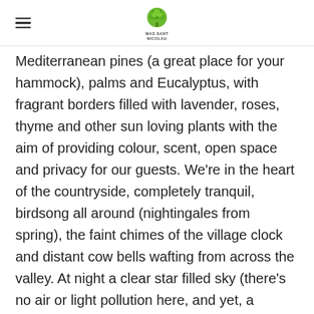MAS SANT NICOLAU
Mediterranean pines (a great place for your hammock), palms and Eucalyptus, with fragrant borders filled with lavender, roses, thyme and other sun loving plants with the aim of providing colour, scent, open space and privacy for our guests. We're in the heart of the countryside, completely tranquil, birdsong all around (nightingales from spring), the faint chimes of the village clock and distant cow bells wafting from across the valley. At night a clear star filled sky (there's no air or light pollution here, and yet, a stone's throw away from Figueres. A dream come true.